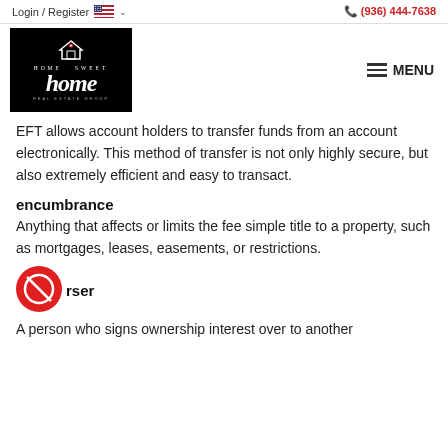Login / Register  🇺🇸 ∨    (936) 444-7638
[Figure (logo): Home Sweet Home Real Estate Group logo — black background with house icon and script text]
EFT allows account holders to transfer funds from an account electronically. This method of transfer is not only highly secure, but also extremely efficient and easy to transact.
encumbrance
Anything that affects or limits the fee simple title to a property, such as mortgages, leases, easements, or restrictions.
endorser
A person who signs ownership interest over to another